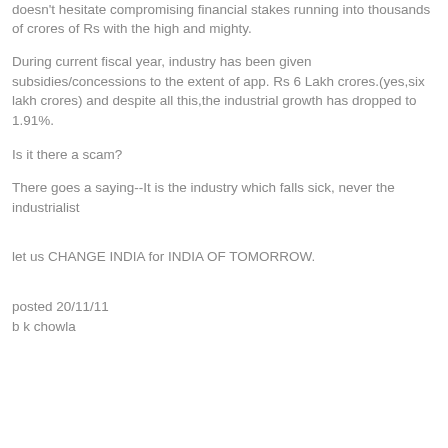doesn't hesitate compromising financial stakes running into thousands of crores of Rs with the high and mighty.
During current fiscal year, industry has been given subsidies/concessions to the extent of app. Rs 6 Lakh crores.(yes,six lakh crores) and despite all this,the industrial growth has dropped to 1.91%.
Is it there a scam?
There goes a saying--It is the industry which falls sick, never the industrialist
let us CHANGE INDIA for INDIA OF TOMORROW.
posted 20/11/11
b k chowla